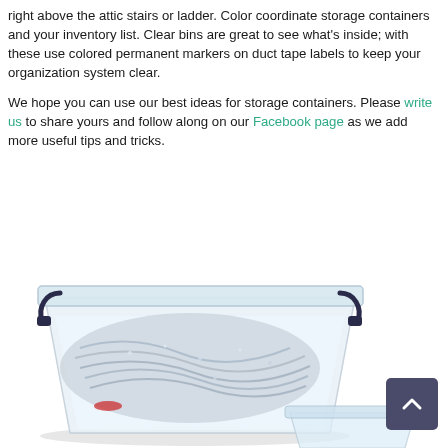right above the attic stairs or ladder. Color coordinate storage containers and your inventory list. Clear bins are great to see what's inside; with these use colored permanent markers on duct tape labels to keep your organization system clear.
We hope you can use our best ideas for storage containers. Please write us to share yours and follow along on our Facebook page as we add more useful tips and tricks.
[Figure (photo): A clear plastic storage container with dark handles filled with silver tinsel/Christmas decorations, shown from a slightly elevated angle with another container partially visible. A dark blue square scroll-to-top button with a white upward chevron arrow appears in the lower right.]